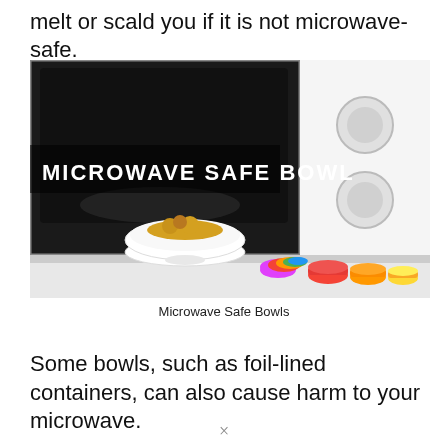melt or scald you if it is not microwave-safe.
[Figure (photo): Photo of a white microwave oven with its door open, showing a white bowl of food inside, with colorful silicone bowls on the counter in front. Text overlay reads 'MICROWAVE SAFE BOWL'.]
Microwave Safe Bowls
Some bowls, such as foil-lined containers, can also cause harm to your microwave.